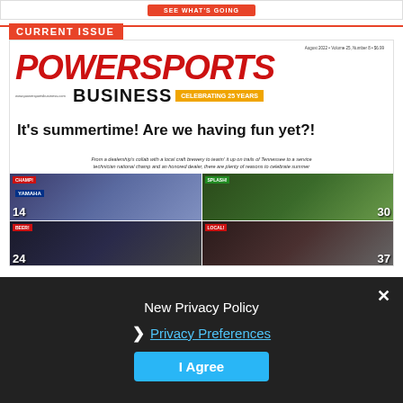[Figure (screenshot): Top advertisement banner with orange/red button reading 'SEE WHAT'S GOING']
CURRENT ISSUE
[Figure (screenshot): PowerSports Business magazine cover - August 2022, Volume 25, Number 8. Headline: It's summertime! Are we having fun yet?! Shows Yamaha dealership and splash water trail riding images.]
[Figure (screenshot): Privacy policy overlay dialog with 'New Privacy Policy' title, 'Privacy Preferences' link, and 'I Agree' button, with close X button]